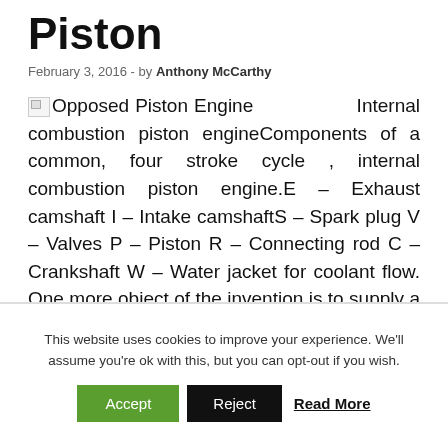Piston
February 3, 2016  -  by Anthony McCarthy
Opposed Piston Engine Internal combustion piston engineComponents of a common, four stroke cycle , internal combustion piston engine.E – Exhaust camshaft I – Intake camshaftS – Spark plug V – Valves P – Piston R – Connecting rod C – Crankshaft W – Water jacket for coolant flow. One more object of the invention is to supply a novel and impoved opposed piston
This website uses cookies to improve your experience. We'll assume you're ok with this, but you can opt-out if you wish. Accept Reject Read More